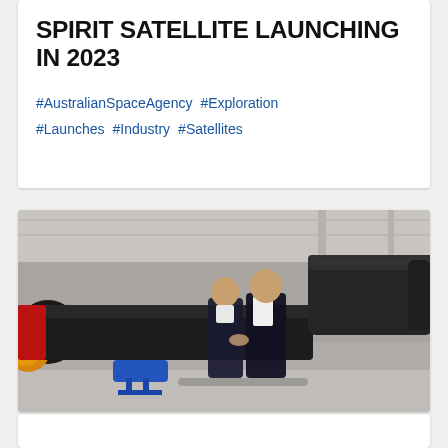SPIRIT SATELLITE LAUNCHING IN 2023
#AustralianSpaceAgency  #Exploration  #Launches  #Industry  #Satellites
[Figure (photo): Two people standing in a warehouse or hangar in front of large black rocket hardware, shaking hands. A large black rocket or missile body with a yellow/orange nose cone is visible on the left, with blue support stands. Another dark cylindrical rocket component is visible on the right. The setting appears to be an aerospace facility.]